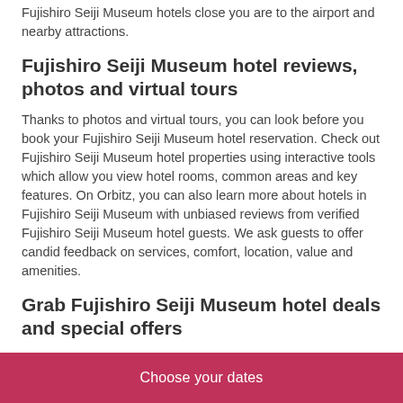Fujishiro Seiji Museum hotels close you are to the airport and nearby attractions.
Fujishiro Seiji Museum hotel reviews, photos and virtual tours
Thanks to photos and virtual tours, you can look before you book your Fujishiro Seiji Museum hotel reservation. Check out Fujishiro Seiji Museum hotel properties using interactive tools which allow you view hotel rooms, common areas and key features. On Orbitz, you can also learn more about hotels in Fujishiro Seiji Museum with unbiased reviews from verified Fujishiro Seiji Museum hotel guests. We ask guests to offer candid feedback on services, comfort, location, value and amenities.
Grab Fujishiro Seiji Museum hotel deals and special offers
Orbitz works around the clock to find exclusive offers and Fujishiro Seiji Museum hotel deals, just for you. Sign up for deals by e-mail where you'll get first crack at money-saving
Choose your dates